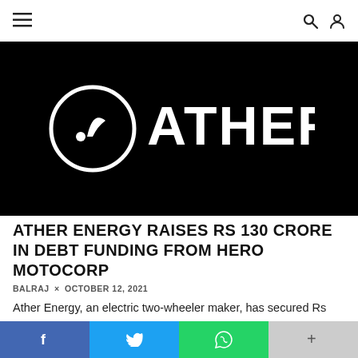☰  🔍 👤
[Figure (logo): Ather Energy logo — white circle with stylized 'A' symbol and 'ATHER' wordmark on black background]
ATHER ENERGY RAISES RS 130 CRORE IN DEBT FUNDING FROM HERO MOTOCORP
BALRAJ × OCTOBER 12, 2021
Ather Energy, an electric two-wheeler maker, has secured Rs 130 crore in debt funding led by existing investor Hero MotoCorp. This is the first